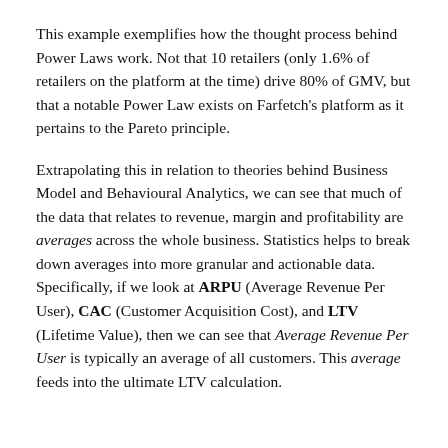This example exemplifies how the thought process behind Power Laws work. Not that 10 retailers (only 1.6% of retailers on the platform at the time) drive 80% of GMV, but that a notable Power Law exists on Farfetch's platform as it pertains to the Pareto principle.
Extrapolating this in relation to theories behind Business Model and Behavioural Analytics, we can see that much of the data that relates to revenue, margin and profitability are averages across the whole business. Statistics helps to break down averages into more granular and actionable data. Specifically, if we look at ARPU (Average Revenue Per User), CAC (Customer Acquisition Cost), and LTV (Lifetime Value), then we can see that Average Revenue Per User is typically an average of all customers. This average feeds into the ultimate LTV calculation.